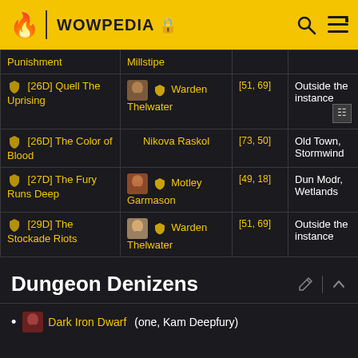WOWPEDIA
| Quest | NPC | Coords | Location |
| --- | --- | --- | --- |
| Punishment / Millstipe |  |  |  |
| [26D] Quell The Uprising | Warden Thelwater | [51, 69] | Outside the instance |
| [26D] The Color of Blood | Nikova Raskol | [73, 50] | Old Town, Stormwind |
| [27D] The Fury Runs Deep | Motley Garmason | [49, 18] | Dun Modr, Wetlands |
| [29D] The Stockade Riots | Warden Thelwater | [51, 69] | Outside the instance |
Dungeon Denizens
Dark Iron Dwarf (one, Kam Deepfury)